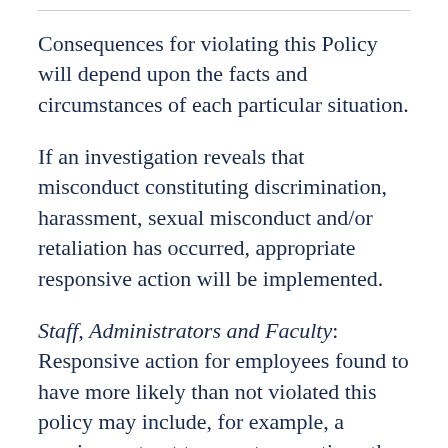Consequences for violating this Policy will depend upon the facts and circumstances of each particular situation.
If an investigation reveals that misconduct constituting discrimination, harassment, sexual misconduct and/or retaliation has occurred, appropriate responsive action will be implemented.
Staff, Administrators and Faculty: Responsive action for employees found to have more likely than not violated this policy may include, for example, a requirement not to repeat or continue the discriminatory or harassing conduct or some